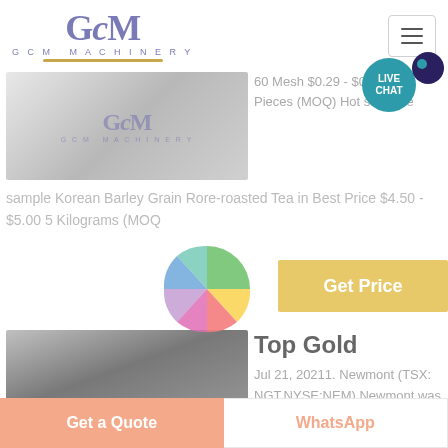GCM Machinery
60 Mesh $0.29 - $0.45 100 Pieces (MOQ) Hot sale free sample Korean Barley Grain Rore-roasted Tea in Best Price $4.50 - $5.00 5 Kilograms (MOQ
[Figure (photo): Product photo with GCM Machinery branding]
Get Price
[Figure (photo): Industrial machinery facility interior showing large equipment]
Top Gold
Jul 21, 20211. Newmont (TSX: NGT,NYSE:NEM) Newmont was the largest of the top gold-mining
Get a Quote | WhatsApp